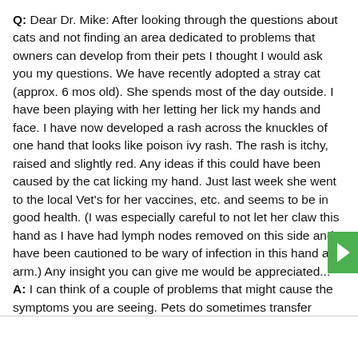Q: Dear Dr. Mike: After looking through the questions about cats and not finding an area dedicated to problems that owners can develop from their pets I thought I would ask you my questions. We have recently adopted a stray cat (approx. 6 mos old). She spends most of the day outside. I have been playing with her letting her lick my hands and face. I have now developed a rash across the knuckles of one hand that looks like poison ivy rash. The rash is itchy, raised and slightly red. Any ideas if this could have been caused by the cat licking my hand. Just last week she went to the local Vet's for her vaccines, etc. and seems to be in good health. (I was especially careful to not let her claw this hand as I have had lymph nodes removed on this side and have been cautioned to be wary of infection in this hand and arm.) Any insight you can give me would be appreciated... A: I can think of a couple of problems that might cause the symptoms you are seeing. Pets do sometimes transfer poison ivy toxins from the environment to their owner's, so a poison ivy reaction is entirely possible. There are some people with allergies to cats who develop rashes on contact with them -- but I think they are usually more generalized. Ringworm